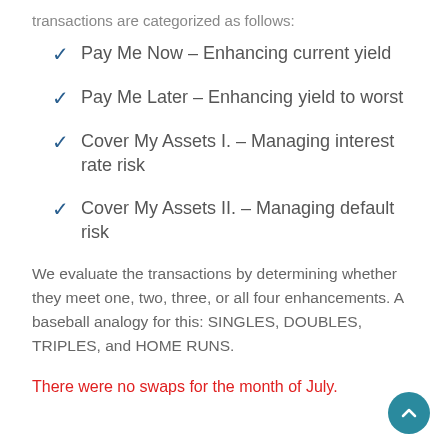transactions are categorized as follows:
Pay Me Now – Enhancing current yield
Pay Me Later – Enhancing yield to worst
Cover My Assets I. – Managing interest rate risk
Cover My Assets II. – Managing default risk
We evaluate the transactions by determining whether they meet one, two, three, or all four enhancements. A baseball analogy for this: SINGLES, DOUBLES, TRIPLES, and HOME RUNS.
There were no swaps for the month of July.